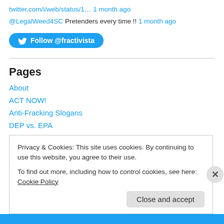twitter.com/i/web/status/1… 1 month ago
@LegalWeed4SC Pretenders every time !! 1 month ago
[Figure (other): Follow @fractivista Twitter button]
Pages
About
ACT NOW!
Anti-Fracking Slogans
DEP vs. EPA
Frack Facts
Privacy & Cookies: This site uses cookies. By continuing to use this website, you agree to their use.
To find out more, including how to control cookies, see here: Cookie Policy
Close and accept